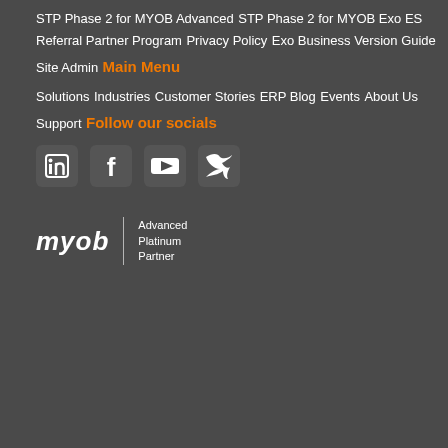STP Phase 2 for MYOB Advanced
STP Phase 2 for MYOB Exo ES
Referral Partner Program
Privacy Policy
Exo Business Version Guide
Site Admin
Main Menu
Solutions
Industries
Customer Stories
ERP Blog
Events
About Us
Support
Follow our socials
[Figure (illustration): Social media icons: LinkedIn, Facebook, YouTube, Twitter]
[Figure (logo): MYOB Advanced Platinum Partner logo]